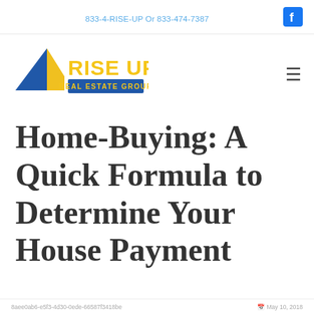833-4-RISE-UP Or 833-474-7387
[Figure (logo): Rise Up Real Estate Group logo — blue arrow/kite shape on left, yellow bold text 'RISE UP' on right with blue banner reading 'REAL ESTATE GROUP' below]
Home-Buying: A Quick Formula to Determine Your House Payment
8aee0ab6-e5f3-4d30-0ede-66587f3418be   May 10, 2018